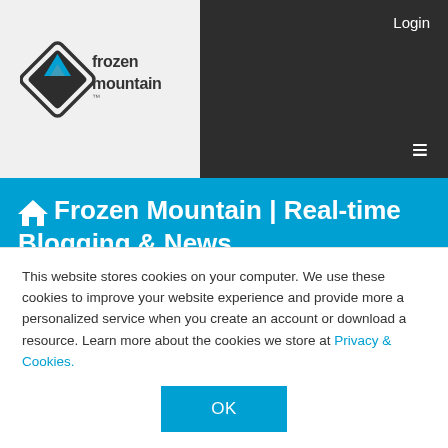[Figure (logo): Frozen Mountain logo: diamond/mountain icon with 'frozen mountain' text]
🏠 Frozen Mountain | Real-time Blogging & News
[Figure (photo): Circular profile photo of a person, partially visible, with grey circular frame cropped at bottom]
This website stores cookies on your computer. We use these cookies to improve your website experience and provide more a personalized service when you create an account or download a resource. Learn more about the cookies we store at Privacy & Cookies.
OK